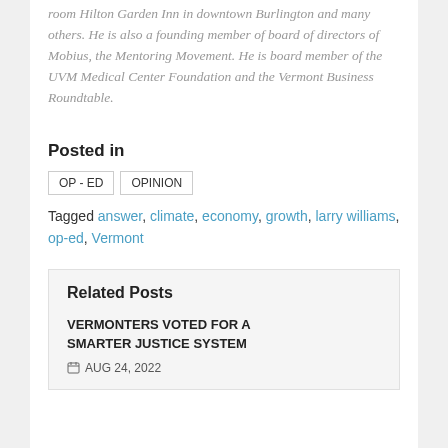room Hilton Garden Inn in downtown Burlington and many others. He is also a founding member of board of directors of Mobius, the Mentoring Movement. He is board member of the UVM Medical Center Foundation and the Vermont Business Roundtable.
Posted in
OP - ED   OPINION
Tagged answer, climate, economy, growth, larry williams, op-ed, Vermont
Related Posts
VERMONTERS VOTED FOR A SMARTER JUSTICE SYSTEM
AUG 24, 2022